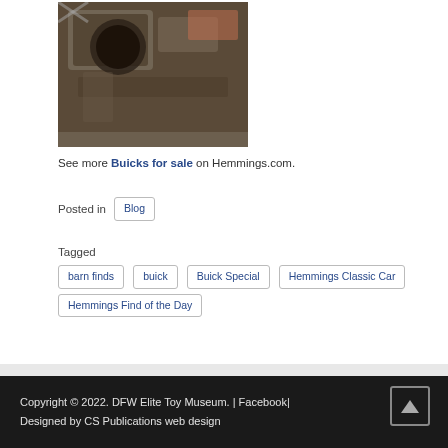[Figure (photo): Car engine compartment photo showing engine bay of a vintage vehicle]
See more Buicks for sale on Hemmings.com.
Posted in  Blog
Tagged  barn finds  buick  Buick Special  Hemmings Classic Car  Hemmings Find of the Day
Copyright © 2022. DFW Elite Toy Museum. | Facebook| Designed by CS Publications web design